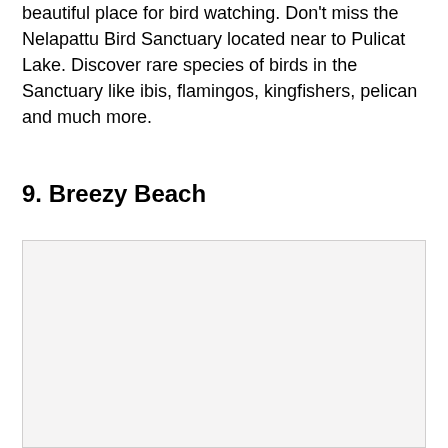beautiful place for bird watching. Don't miss the Nelapattu Bird Sanctuary located near to Pulicat Lake. Discover rare species of birds in the Sanctuary like ibis, flamingos, kingfishers, pelican and much more.
9. Breezy Beach
[Figure (photo): A placeholder image area for Breezy Beach, shown as a light gray rectangle.]